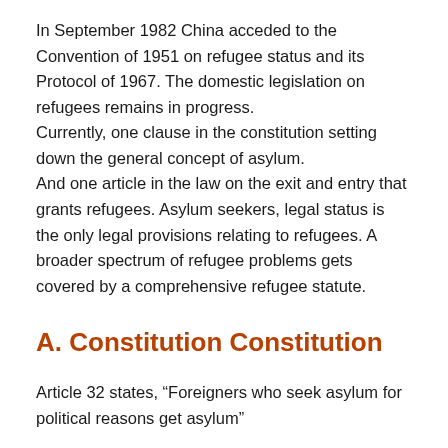In September 1982 China acceded to the Convention of 1951 on refugee status and its Protocol of 1967. The domestic legislation on refugees remains in progress.
Currently, one clause in the constitution setting down the general concept of asylum.
And one article in the law on the exit and entry that grants refugees. Asylum seekers, legal status is the only legal provisions relating to refugees. A broader spectrum of refugee problems gets covered by a comprehensive refugee statute.
A. Constitution Constitution
Article 32 states, “Foreigners who seek asylum for political reasons get asylum”